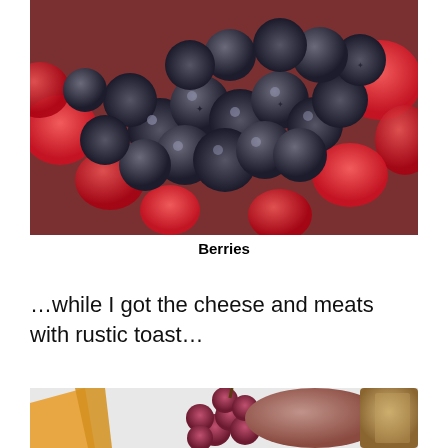[Figure (photo): Close-up photo of blueberries and raspberries piled together]
Berries
…while I got the cheese and meats with rustic toast…
[Figure (photo): Photo of a plate with red grapes, deli meat (ham), orange cheese slices, and rustic toast]